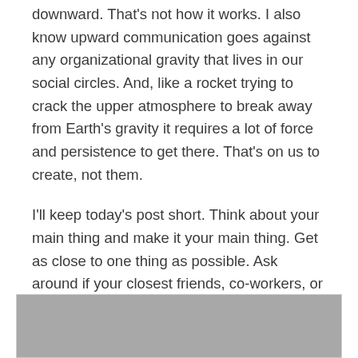downward. That's not how it works. I also know upward communication goes against any organizational gravity that lives in our social circles. And, like a rocket trying to crack the upper atmosphere to break away from Earth's gravity it requires a lot of force and persistence to get there. That's on us to create, not them.
I'll keep today's post short. Think about your main thing and make it your main thing. Get as close to one thing as possible. Ask around if your closest friends, co-workers, or bosses know what your main thing is. If they don't, take the time and persistence required to show or share with them what it is. You'll reach that peak a lot sooner if you do.
[Figure (photo): A gray rectangular image, partially visible at the bottom of the page]